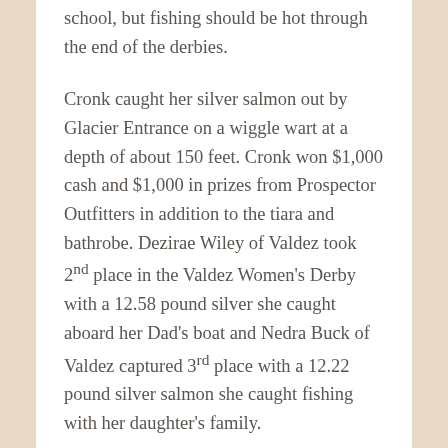school, but fishing should be hot through the end of the derbies.
Cronk caught her silver salmon out by Glacier Entrance on a wiggle wart at a depth of about 150 feet. Cronk won $1,000 cash and $1,000 in prizes from Prospector Outfitters in addition to the tiara and bathrobe. Dezirae Wiley of Valdez took 2nd place in the Valdez Women's Derby with a 12.58 pound silver she caught aboard her Dad's boat and Nedra Buck of Valdez captured 3rd place with a 12.22 pound silver salmon she caught fishing with her daughter's family.